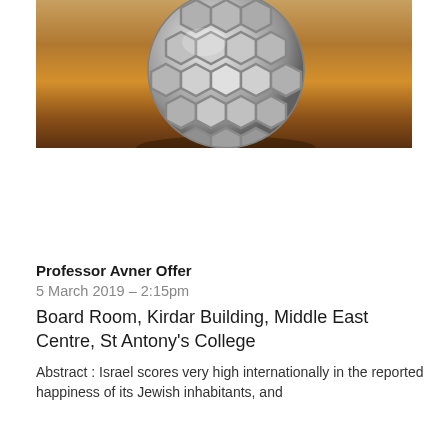[Figure (photo): A metallic lattice sphere object with hexagonal/polygonal openings, sitting on a warm wooden surface, photographed close-up with a blurred background.]
Professor Avner Offer
5 March 2019 – 2:15pm
Board Room, Kirdar Building, Middle East Centre, St Antony's College
Abstract : Israel scores very high internationally in the reported happiness of its Jewish inhabitants, and